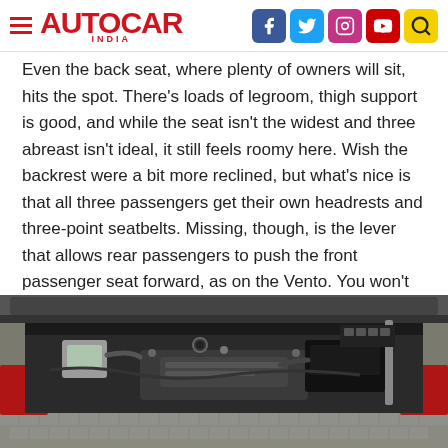AUTOCAR INDIA
Even the back seat, where plenty of owners will sit, hits the spot. There's loads of legroom, thigh support is good, and while the seat isn't the widest and three abreast isn't ideal, it still feels roomy here. Wish the backrest were a bit more reclined, but what's nice is that all three passengers get their own headrests and three-point seatbelts. Missing, though, is the lever that allows rear passengers to push the front passenger seat forward, as on the Vento. You won't want more space in the boot, however; this one gives you 521 litres, but for those who do, you can even flip and fold the seats forward.
[Figure (photo): Car engine bay photo showing a red vehicle with open hood, revealing the engine compartment with various mechanical components visible from above.]